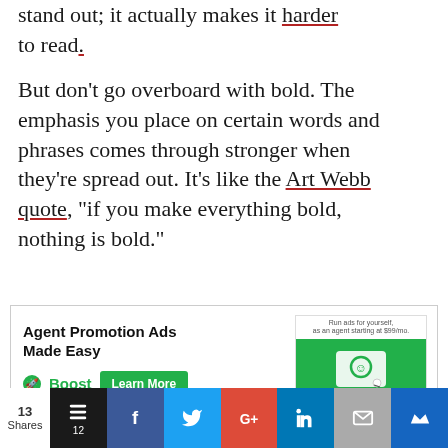stand out; it actually makes it harder to read.
But don't go overboard with bold. The emphasis you place on certain words and phrases comes through stronger when they're spread out. It's like the Art Webb quote, “if you make everything bold, nothing is bold.”
[Figure (screenshot): Agent Promotion Ads Made Easy — Boost logo with Learn More button and a green advertisement preview image]
13 Shares | Buffer (12) | Facebook | Twitter | Google+ | LinkedIn | Email | Crown